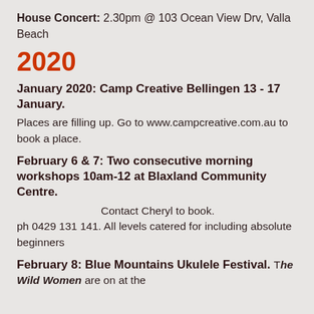House Concert: 2.30pm @ 103 Ocean View Drv, Valla Beach
2020
January 2020: Camp Creative Bellingen 13 - 17 January.
Places are filling up. Go to www.campcreative.com.au to book a place.
February 6 & 7: Two consecutive morning workshops 10am-12 at Blaxland Community Centre.
Contact Cheryl to book. ph 0429 131 141. All levels catered for including absolute beginners
February 8: Blue Mountains Ukulele Festival.
The Wild Women are on at the